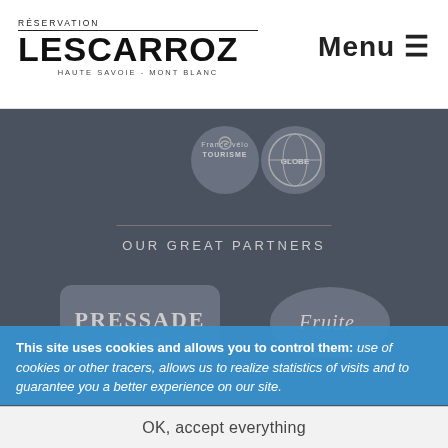RÉSERVATION LES CARROZ HAUTE SAVOIE - MONT BLANC | Menu
[Figure (logo): France vélo Tourisme circular logo in grey]
[Figure (logo): Globe circular logo in grey]
OUR GREAT PARTNERS
[Figure (logo): Pressade logo in grey]
[Figure (logo): Fruite logo in grey]
Les Carroz Réservation - Centrale de réservation des Carroz
Immatriculation Registre des Commerces et Sociétés d'Annecy B 331 420 406 - 0004. Garantie Financière
This site uses cookies and allows you to control them: use of cookies or other tracers, allows us to realize statistics of visits and to guarantee you a better experience on our site.
Assureur PM Conseil Philippe MEIGNAN
OK, accept everything